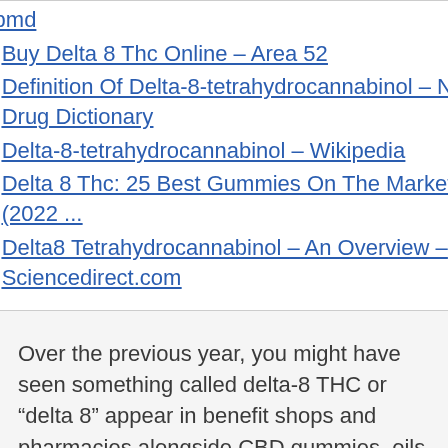Webmd
Buy Delta 8 Thc Online – Area 52
Definition Of Delta-8-tetrahydrocannabinol – Nci Drug Dictionary
Delta-8-tetrahydrocannabinol – Wikipedia
Delta 8 Thc: 25 Best Gummies On The Market (2022 ...
Delta8 Tetrahydrocannabinol – An Overview – Sciencedirect.com
Over the previous year, you might have seen something called delta-8 THC or “delta 8” appear in benefit shops and pharmacies alongside CBD gummies, oils and lotions. Delta 8 THC is a...